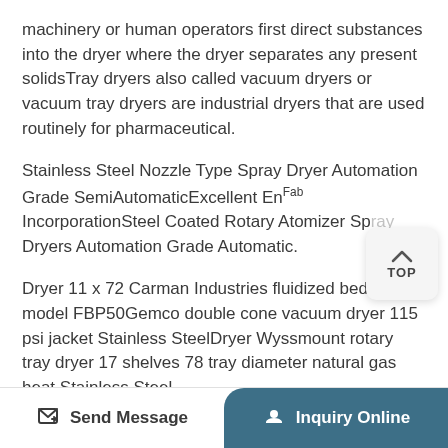machinery or human operators first direct substances into the dryer where the dryer separates any present solidsTray dryers also called vacuum dryers or vacuum tray dryers are industrial dryers that are used routinely for pharmaceutical.
Stainless Steel Nozzle Type Spray Dryer Automation Grade SemiAutomaticExcellent EnFab IncorporationSteel Coated Rotary Atomizer Spray Dryers Automation Grade Automatic.
Dryer 11 x 72 Carman Industries fluidized bed dryer model FBP50Gemco double cone vacuum dryer 115 psi jacket Stainless SteelDryer Wyssmount rotary tray dryer 17 shelves 78 tray diameter natural gas heat Stainless Steel.
[Figure (other): TOP navigation button with upward arrow and 'TOP' label on a light gray rounded rectangle]
Send Message | Inquiry Online